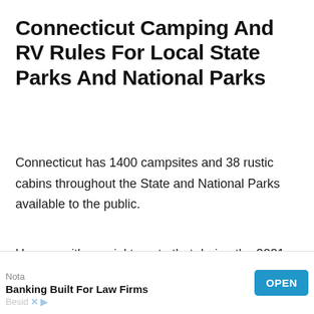Connecticut Camping And RV Rules For Local State Parks And National Parks
Connecticut has 1400 campsites and 38 rustic cabins throughout the State and National Parks available to the public.
However, it's crucial to note that during the 2021 camping season, visitors aren't allowed within the campground as only registered campers are permitted.